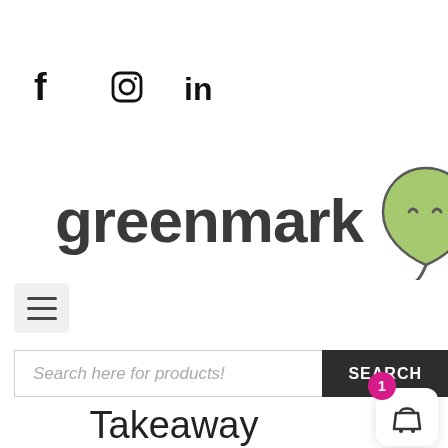[Figure (logo): Social media icons: Facebook (f), Instagram (circle camera), LinkedIn (in)]
[Figure (logo): Greenmark logo with stylized leaf icon containing a calm face]
[Figure (other): Hamburger menu button (three horizontal lines) in a light grey rounded box]
[Figure (screenshot): Search bar with placeholder text 'Search here for products!' and dark SEARCH button]
Takeaway